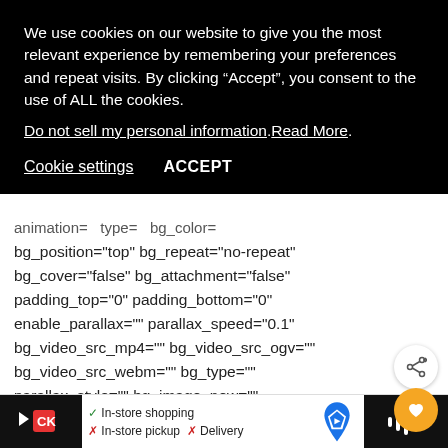We use cookies on our website to give you the most relevant experience by remembering your preferences and repeat visits. By clicking “Accept”, you consent to the use of ALL the cookies.
Do not sell my personal information.Read More.
Cookie settings   ACCEPT
animation=  type=  bg_color=
bg_position="top" bg_repeat="no-repeat"
bg_cover="false" bg_attachment="false"
padding_top="0" padding_bottom="0"
enable_parallax="" parallax_speed="0.1"
bg_video_src_mp4="" bg_video_src_ogv=""
bg_video_src_webm="" bg_type=""
parallax_style="" bg_image_new=""
[Figure (screenshot): Bottom advertisement bar with store icons, checkmarks for In-store shopping, X marks for In-store pickup and Delivery, navigation arrow icon, and dark side panels]